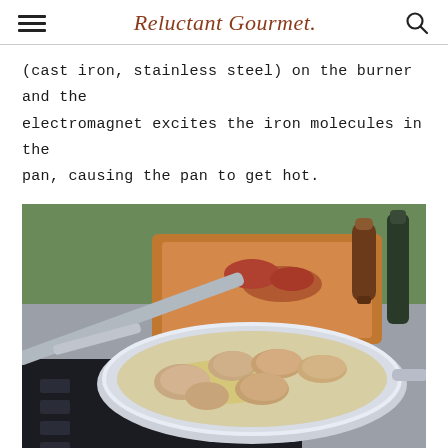Reluctant Gourmet
(cast iron, stainless steel) on the burner and the electromagnet excites the iron molecules in the pan, causing the pan to get hot.
[Figure (photo): A stainless steel skillet with several pieces of meat cooking in oil on an induction cooktop, outdoors. A wooden cutting board with raw meat, a pepper grinder, and a bottle of oil are visible in the background on a stone surface with green grass behind.]